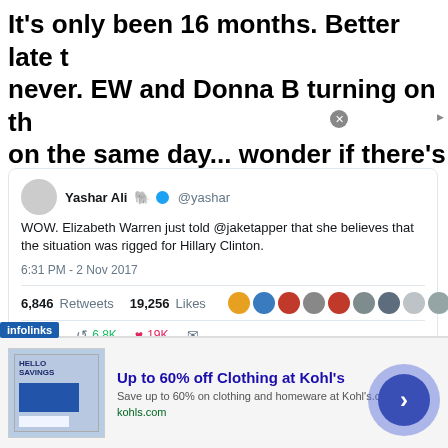It's only been 16 months. Better late than never. EW and Donna B turning on the on the same day... wonder if there's m
[Figure (screenshot): Embedded tweet by Yashar Ali (@yashar): WOW. Elizabeth Warren just told @jaketapper that she believes that the situation was rigged for Hillary Clinton. 6:31 PM - 2 Nov 2017. 6,846 Retweets 19,256 Likes]
Either Democrats and some portions of the media know so something new that hasn't been reported yet, and is getting re throw Hillary Clinton under the bus, or they know the
[Figure (screenshot): Advertisement banner: Up to 60% off Clothing at Kohl's. Save up to 60% on clothing and homeware at Kohl's.com. kohls.com. Infolinks ad with image and arrow button.]